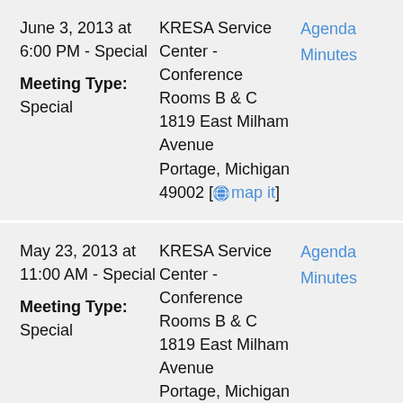| Date/Type | Location | Links |
| --- | --- | --- |
| June 3, 2013 at 6:00 PM - Special
Meeting Type: Special | KRESA Service Center - Conference Rooms B & C
1819 East Milham Avenue
Portage, Michigan 49002 [map it] | Agenda
Minutes |
| May 23, 2013 at 11:00 AM - Special
Meeting Type: Special | KRESA Service Center - Conference Rooms B & C
1819 East Milham Avenue
Portage, Michigan 49002 [map it] | Agenda
Minutes |
| May 16, 2013 at ... | KRESA Service ... | Agenda |